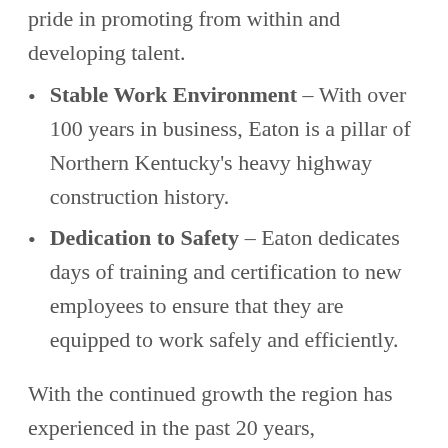pride in promoting from within and developing talent.
Stable Work Environment – With over 100 years in business, Eaton is a pillar of Northern Kentucky's heavy highway construction history.
Dedication to Safety – Eaton dedicates days of training and certification to new employees to ensure that they are equipped to work safely and efficiently.
With the continued growth the region has experienced in the past 20 years, developing, and maintaining Northern Kentucky's infrastructure is vital. Over the past 100 years, Eaton has also grown, with multiple crews, asphalt plants, and a fleet of equipment to